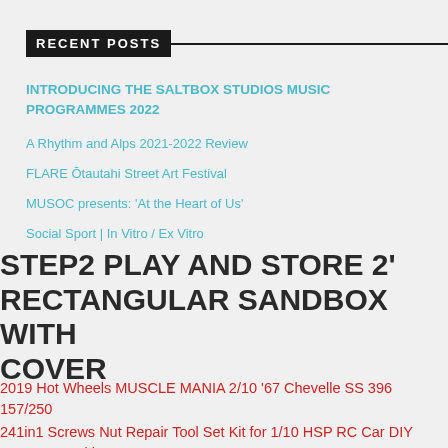RECENT POSTS
INTRODUCING THE SALTBOX STUDIOS MUSIC PROGRAMMES 2022
A Rhythm and Alps 2021-2022 Review
FLARE Ōtautahi Street Art Festival
MUSOC presents: 'At the Heart of Us'
Social Sport | In Vitro / Ex Vitro
STEP2 PLAY AND STORE 2' RECTANGULAR SANDBOX WITH COVER
2019 Hot Wheels MUSCLE MANIA 2/10 '67 Chevelle SS 396 157/250
241in1 Screws Nut Repair Tool Set Kit for 1/10 HSP RC Car DIY Accessory With Box